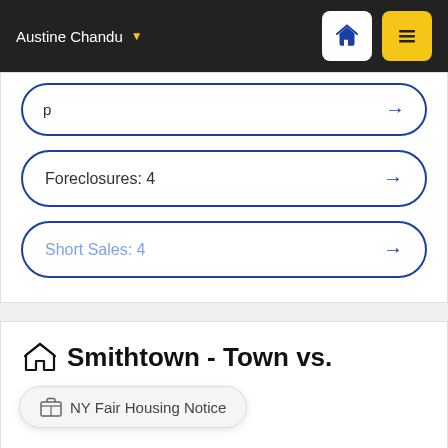Austine Chandu
Foreclosures: 4
Short Sales: 4
Smithtown - Town vs.
NY Fair Housing Notice
Avg Price in Smithtown: $835,000 / County Avg $1,092,300